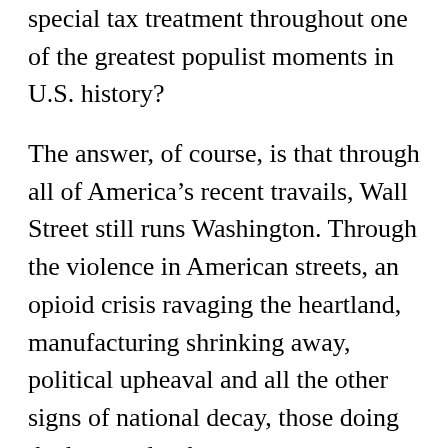special tax treatment throughout one of the greatest populist moments in U.S. history?
The answer, of course, is that through all of America’s recent travails, Wall Street still runs Washington. Through the violence in American streets, an opioid crisis ravaging the heartland, manufacturing shrinking away, political upheaval and all the other signs of national decay, those doing the best under the current system are still holding the reins of power. Even as Democrats prepare to fundamentally dismantle the systems that make capitalism work, they won’t touch Wall Street’s sacred cow. The Trump administration didn’t either. They all know where the real red